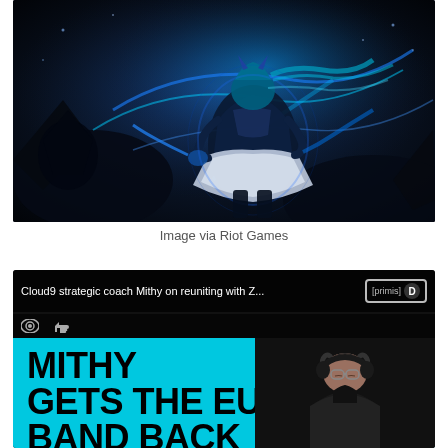[Figure (illustration): League of Legends character artwork showing a blue-haired female champion in dark fantasy armor with glowing blue energy effects, dark background]
Image via Riot Games
[Figure (screenshot): Video thumbnail showing title 'Cloud9 strategic coach Mithy on reuniting with Z...' with primis badge, play/like icons, cyan background with bold black text 'MITHY GETS THE EU BAND BACK TOGETHER' and a man with headphones and glasses on the right side]